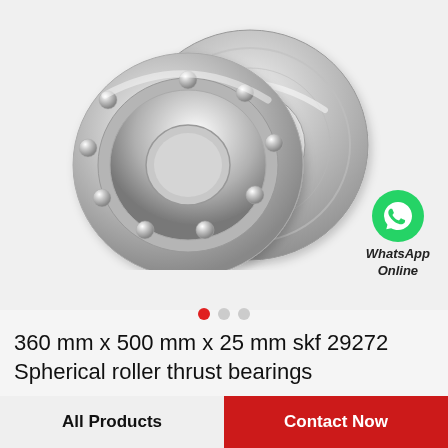[Figure (photo): Two thrust ball bearings made of polished silver steel, partially overlapping. One bearing shows the ball race face, the other shows a smooth washer ring face. A WhatsApp green icon with phone handset is shown to the lower right with text 'WhatsApp Online'.]
360 mm x 500 mm x 25 mm skf 29272 Spherical roller thrust bearings
All Products
Contact Now